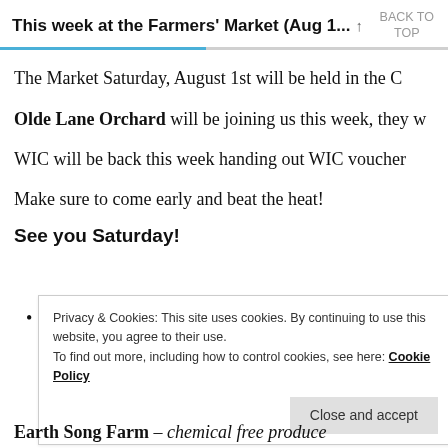This week at the Farmers' Market (Aug 1... ↑  BACK TO TOP
The Market Saturday, August 1st will be held in the C
Olde Lane Orchard will be joining us this week, they w
WIC will be back this week handing out WIC voucher
Make sure to come early and beat the heat!
See you Saturday!
Privacy & Cookies: This site uses cookies. By continuing to use this website, you agree to their use.
To find out more, including how to control cookies, see here: Cookie Policy
Close and accept
Earth Song Farm – chemical free produce